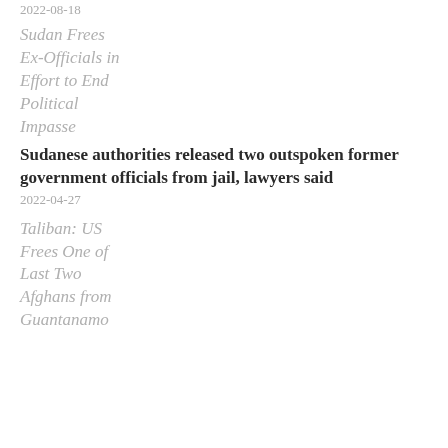2022-08-18
Sudan Frees Ex-Officials in Effort to End Political Impasse
Sudanese authorities released two outspoken former government officials from jail, lawyers said
2022-04-27
Taliban: US Frees One of Last Two Afghans from Guantanamo